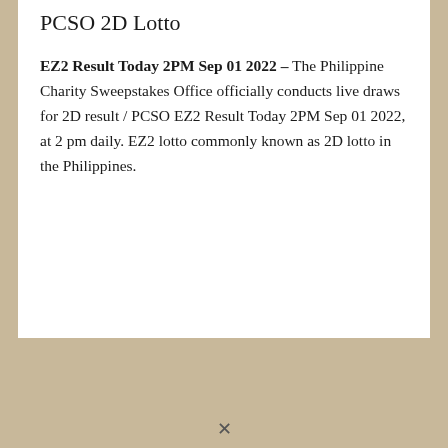PCSO 2D Lotto
EZ2 Result Today 2PM Sep 01 2022 – The Philippine Charity Sweepstakes Office officially conducts live draws for 2D result / PCSO EZ2 Result Today 2PM Sep 01 2022, at 2 pm daily. EZ2 lotto commonly known as 2D lotto in the Philippines.